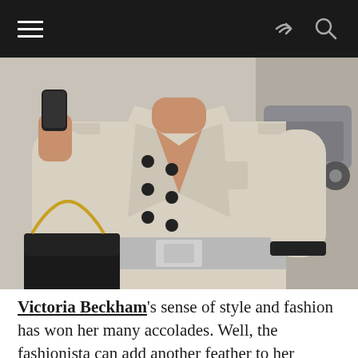[Navigation bar with hamburger menu, share icon, search icon]
[Figure (photo): Woman wearing a beige/cream double-breasted trench coat with a wide silver belt buckle, holding a smartphone, carrying a black handbag with gold chain strap. Street fashion photo, torso and arms visible, no face shown.]
Victoria Beckham's sense of style and fashion has won her many accolades. Well, the fashionista can add another feather to her stylish cap of accomplishments as she has just been offered a whopping £25m ($48.3 billion) to be the...